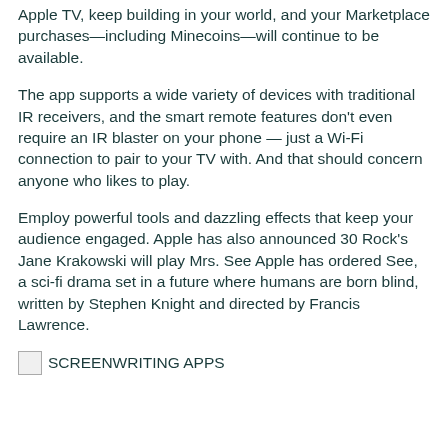Apple TV, keep building in your world, and your Marketplace purchases—including Minecoins—will continue to be available.
The app supports a wide variety of devices with traditional IR receivers, and the smart remote features don't even require an IR blaster on your phone — just a Wi-Fi connection to pair to your TV with. And that should concern anyone who likes to play.
Employ powerful tools and dazzling effects that keep your audience engaged. Apple has also announced 30 Rock's Jane Krakowski will play Mrs. See Apple has ordered See, a sci-fi drama set in a future where humans are born blind, written by Stephen Knight and directed by Francis Lawrence.
[Figure (other): Small image icon followed by text label SCREENWRITING APPS]